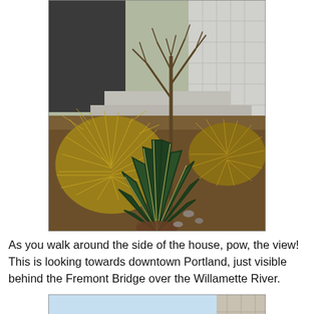[Figure (photo): Outdoor garden scene with a large spiky yucca/agave plant with green and cream-striped leaves in the foreground, golden ornamental grass mounds to the left, a bare-branched tree in the background, and a modern building facade visible behind.]
As you walk around the side of the house, pow, the view! This is looking towards downtown Portland, just visible behind the Fremont Bridge over the Willamette River.
[Figure (photo): Partial view of a building with blue sky, showing the beginning of a panoramic cityscape photo — top portion visible.]